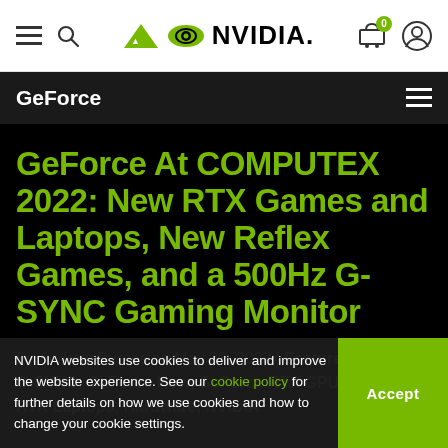NVIDIA navigation bar with hamburger menu, search icon, NVIDIA logo, cart (0), and user account icon
GeForce
GeForce At COMPUTEX 2022: New RTX Games and Laptops, New Reflex Games, and a 500Hz G-SYNC Gaming Monitor
By Andrew Burnes on May 23, 2022 | Featured Stories, G-SYNC, GeForce Now, GeForce RTX GPUs, GeForce RTX Laptops, Hardware, NVIDIA
NVIDIA websites use cookies to deliver and improve the website experience. See our cookie policy for further details on how we use cookies and how to change your cookie settings.